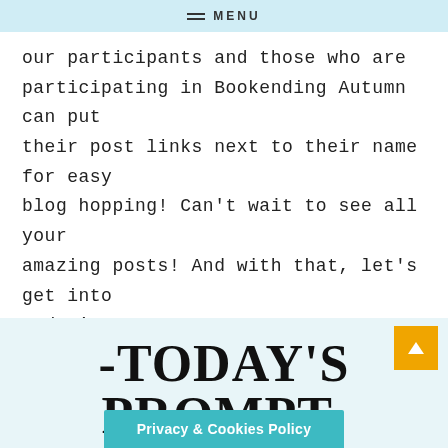MENU
our participants and those who are participating in Bookending Autumn can put their post links next to their name for easy blog hopping! Can't wait to see all your amazing posts! And with that, let's get into today's prompt!
-TODAY'S PROMPT-